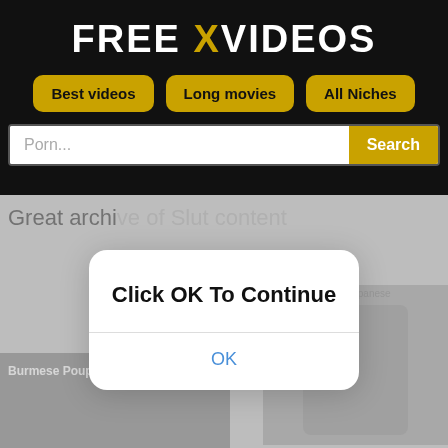FREE XVIDEOS
Best videos
Long movies
All Niches
Porn...
Search
Great archive of Slut content
[Figure (screenshot): Video thumbnail with label 'doctor japanese' and duration 9:05]
[Figure (screenshot): Modal dialog overlay with text 'Click OK To Continue' and OK button]
[Figure (screenshot): Video thumbnail at bottom left with label 'Burmese Poupe 2']